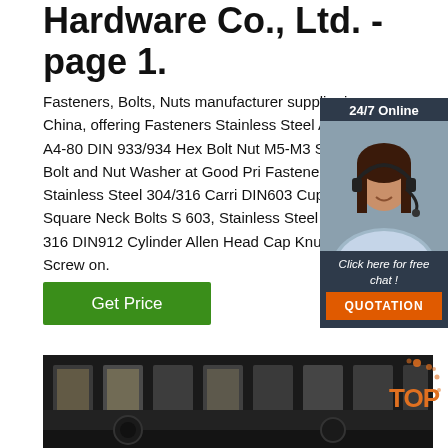Hardware Co., Ltd. - page 1.
Fasteners, Bolts, Nuts manufacturer supplier in China, offering Fasteners Stainless Steel A2-70 A4-80 DIN 933/934 Hex Bolt Nut M5-M3 SS316 Bolt and Nut Washer at Good Pri Fasteners Stainless Steel 304/316 Carri DIN603 Cup Head Square Neck Bolts S 603, Stainless Steel 304 or 316 DIN912 Cylinder Allen Head Cap Knurled Screw on.
[Figure (infographic): 24/7 Online chat widget with a photo of a woman wearing a headset, dark background panel with 'Click here for free chat!' text and an orange QUOTATION button]
Get Price
[Figure (photo): Industrial warehouse or factory interior, dark image showing large machinery or shelving structures. Has a TOP badge in the upper right corner.]